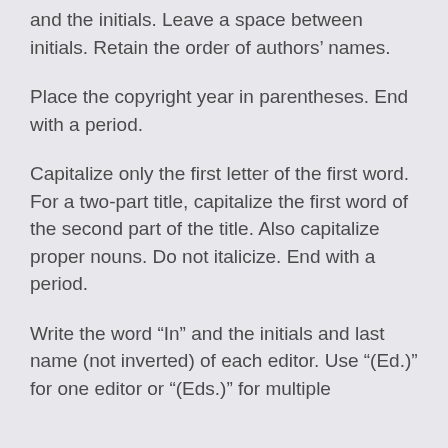and the initials. Leave a space between initials. Retain the order of authors' names.
Place the copyright year in parentheses. End with a period.
Capitalize only the first letter of the first word. For a two-part title, capitalize the first word of the second part of the title. Also capitalize proper nouns. Do not italicize. End with a period.
Write the word “In” and the initials and last name (not inverted) of each editor. Use “(Ed.)” for one editor or “(Eds.)” for multiple